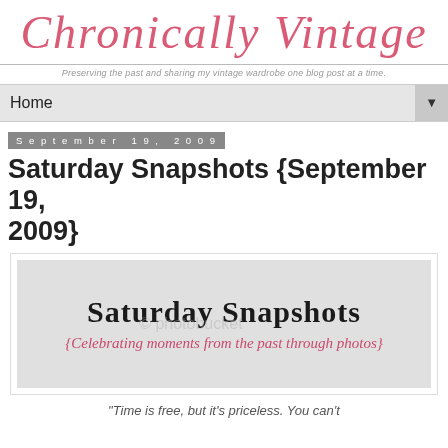Chronically Vintage
Preserving the past and sharing my vintage wardrobe one blog post at a time.
Home
September 19, 2009
Saturday Snapshots {September 19, 2009}
[Figure (illustration): Saturday Snapshots banner image with text 'Saturday Snapshots' in bold serif font and subtitle '{Celebrating moments from the past through photos}' in pink italic script on a light gray background]
“Time is free, but it’s priceless. You can’t